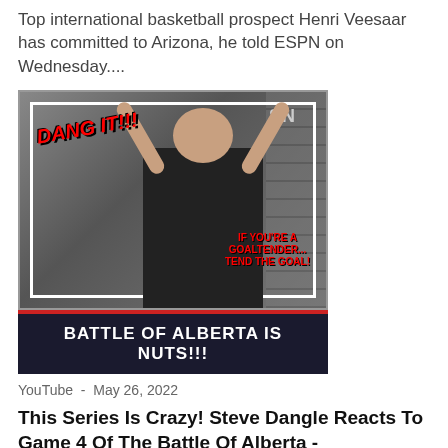Top international basketball prospect Henri Veesaar has committed to Arizona, he told ESPN on Wednesday....
[Figure (screenshot): YouTube video thumbnail showing a person with arms raised, text 'DANG IT!!!' in red on left side, 'IF YOU'RE A GOALTENDER... TEND THE [GOAL]!' on right side, with dark blue banner reading 'BATTLE OF ALBERTA IS NUTS!!!' with red accent bar at top]
YouTube  -  May 26, 2022
This Series Is Crazy! Steve Dangle Reacts To Game 4 Of The Battle Of Alberta - SPORTSNET
Watch the best reactions of Watch The Stanley Cup Playoffs with Steve Dangle as the Edmonton Oilers get